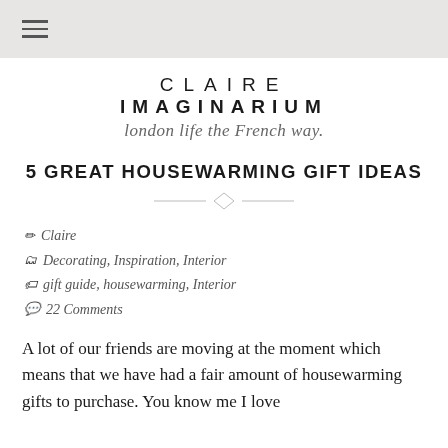☰ (hamburger menu icon)
CLAIRE IMAGINARIUM — london life the French way.
5 GREAT HOUSEWARMING GIFT IDEAS
✏ Claire
📁 Decorating, Inspiration, Interior
🏷 gift guide, housewarming, Interior
💬 22 Comments
A lot of our friends are moving at the moment which means that we have had a fair amount of housewarming gifts to purchase. You know me I love